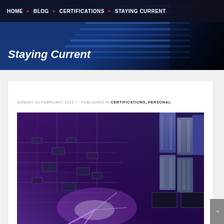HOME  BLOG  CERTIFICATIONS  STAYING CURRENT
Staying Current
SUNDAY, 01 FEBRUARY 2015  /  PUBLISHED IN  CERTIFICATIONS, PERSONAL
[Figure (photo): Close-up photo of a computer motherboard / circuit board with blue and purple lighting, ethernet cables visible on the right side]